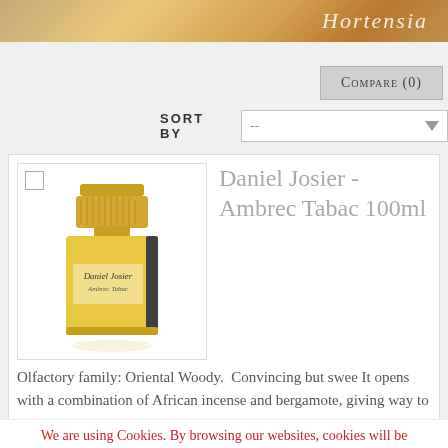[Figure (photo): Header image with warm amber/golden tones and italic script text reading 'Hortensia']
Compare (0)
SORT BY --
[Figure (photo): Product photo of Daniel Josier Ambrec Tabac 100ml perfume bottle with gold geometric cap and yellow bottle body]
Daniel Josier - Ambrec Tabac 100ml
Olfactory family: Oriental Woody.  Convincing but swee It opens with a combination of African incense and bergamote, giving way to a woody heart composed by the always sensual sandalwood
We are using Cookies. By browsing our websites, cookies will be